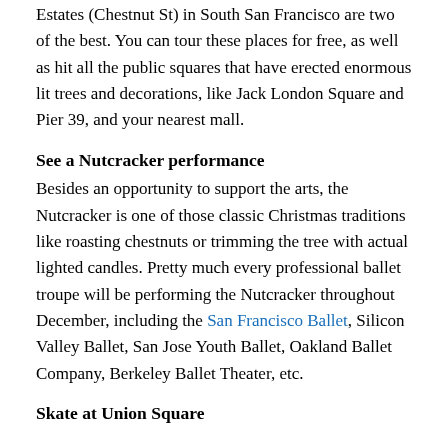Estates (Chestnut St) in South San Francisco are two of the best. You can tour these places for free, as well as hit all the public squares that have erected enormous lit trees and decorations, like Jack London Square and Pier 39, and your nearest mall.
See a Nutcracker performance
Besides an opportunity to support the arts, the Nutcracker is one of those classic Christmas traditions like roasting chestnuts or trimming the tree with actual lighted candles. Pretty much every professional ballet troupe will be performing the Nutcracker throughout December, including the San Francisco Ballet, Silicon Valley Ballet, San Jose Youth Ballet, Oakland Ballet Company, Berkeley Ballet Theater, etc.
Skate at Union Square